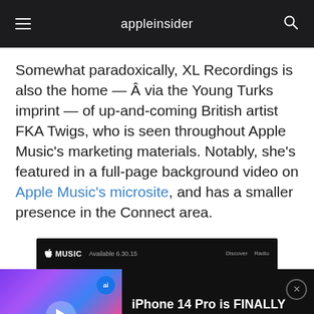appleinsider
Somewhat paradoxically, XL Recordings is also the home — Â via the Young Turks imprint — of up-and-coming British artist FKA Twigs, who is seen throughout Apple Music's marketing materials. Notably, she's featured in a full-page background video on Apple Music's microsite, and has a smaller presence in the Connect area.
[Figure (screenshot): Apple Music promotional banner showing 'Available 6.30.15' with Discover and Radio navigation tabs]
[Figure (screenshot): Video advertisement thumbnail showing iPhone 14 Pro with text 'FINALLY!' and ad headline 'iPhone 14 Pro is FINALLY Getting This Killer Feature!']